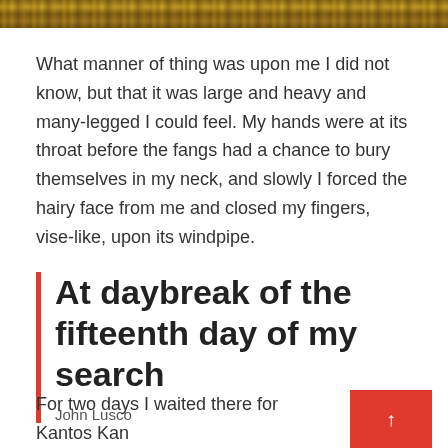[Figure (photo): Partial photo strip at top of page showing a golden/brown textured surface]
What manner of thing was upon me I did not know, but that it was large and heavy and many-legged I could feel. My hands were at its throat before the fangs had a chance to bury themselves in my neck, and slowly I forced the hairy face from me and closed my fingers, vise-like, upon its windpipe.
At daybreak of the fifteenth day of my search
John Lusco
For two days I waited there for Kantos Kan